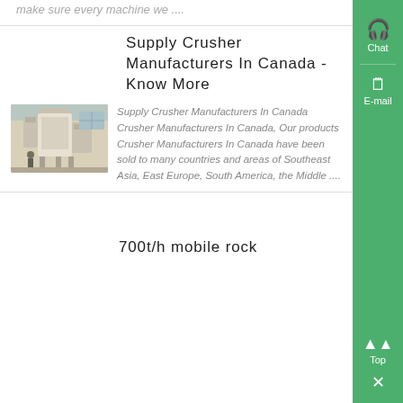make sure every machine we ....
Supply Crusher Manufacturers In Canada - Know More
[Figure (photo): Industrial crusher/dust collector machine in a warehouse setting]
Supply Crusher Manufacturers In Canada Crusher Manufacturers In Canada, Our products Crusher Manufacturers In Canada have been sold to many countries and areas of Southeast Asia, East Europe, South America, the Middle ....
700t/h mobile rock